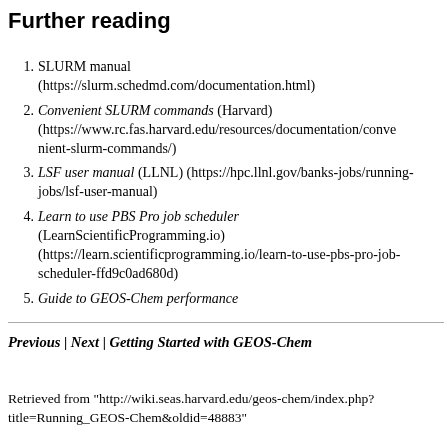Further reading
SLURM manual (https://slurm.schedmd.com/documentation.html)
Convenient SLURM commands (Harvard) (https://www.rc.fas.harvard.edu/resources/documentation/convenient-slurm-commands/)
LSF user manual (LLNL) (https://hpc.llnl.gov/banks-jobs/running-jobs/lsf-user-manual)
Learn to use PBS Pro job scheduler (LearnScientificProgramming.io) (https://learn.scientificprogramming.io/learn-to-use-pbs-pro-job-scheduler-ffd9c0ad680d)
Guide to GEOS-Chem performance
Previous | Next | Getting Started with GEOS-Chem
Retrieved from "http://wiki.seas.harvard.edu/geos-chem/index.php?title=Running_GEOS-Chem&oldid=48883"